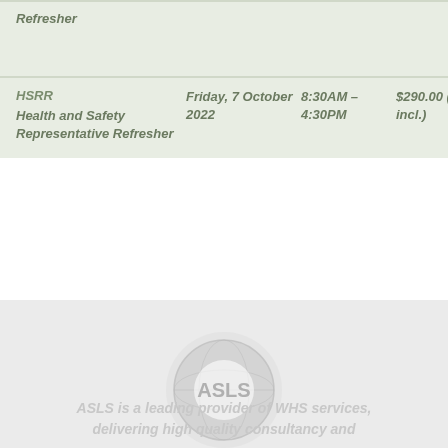| Course | Date | Time | Price |  |
| --- | --- | --- | --- | --- |
| HSRR Health and Safety Representative Refresher | Friday, 7 October 2022 | 8:30AM - 4:30PM | $290.00 (GST incl.) |  |
[Figure (logo): ASLS logo - circular emblem with globe/world imagery and ASLS text]
ASLS is a leading provider of WHS services, delivering high quality consultancy and